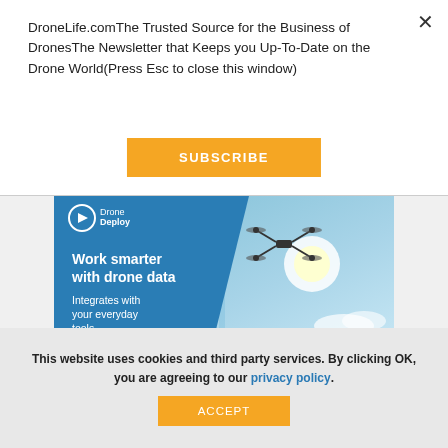DroneLife.comThe Trusted Source for the Business of DronesThe Newsletter that Keeps you Up-To-Date on the Drone World(Press Esc to close this window)
SUBSCRIBE
[Figure (illustration): DroneDeploy advertisement banner showing a drone silhouette against a bright sky. Left side has blue panel with DroneDeploy logo, bold text 'Work smarter with drone data', and 'Integrates with your everyday tools'.]
This website uses cookies and third party services. By clicking OK, you are agreeing to our privacy policy.
ACCEPT